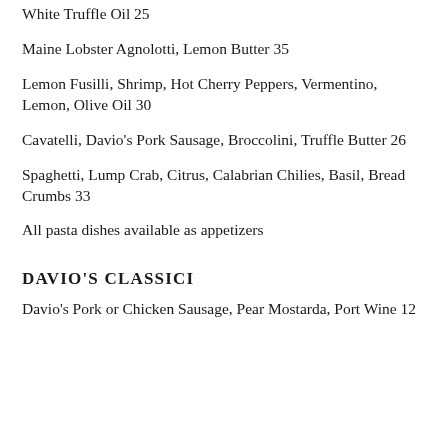White Truffle Oil 25
Maine Lobster Agnolotti, Lemon Butter 35
Lemon Fusilli, Shrimp, Hot Cherry Peppers, Vermentino, Lemon, Olive Oil 30
Cavatelli, Davio's Pork Sausage, Broccolini, Truffle Butter 26
Spaghetti, Lump Crab, Citrus, Calabrian Chilies, Basil, Bread Crumbs 33
All pasta dishes available as appetizers
DAVIO'S CLASSICI
Davio's Pork or Chicken Sausage, Pear Mostarda, Port Wine 12